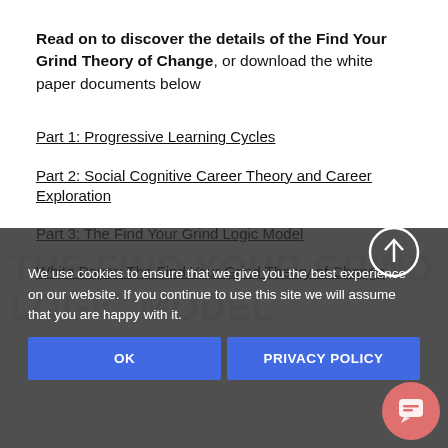Read on to discover the details of the Find Your Grind Theory of Change, or download the white paper documents below
Part 1: Progressive Learning Cycles
Part 2: Social Cognitive Career Theory and Career Exploration
Part 3: The Find Your Grind Logic Model
White Paper: The Find Your Grind Theory of Change
[Figure (screenshot): Cookie consent overlay with dark background, OK and Privacy Policy buttons, watermark text 'THE FIND YOUR GRIND LOGIC MODEL', scroll-up arrow circle, and chat bubble button]
We use cookies to ensure that we give you the best experience on our website. If you continue to use this site we will assume that you are happy with it.